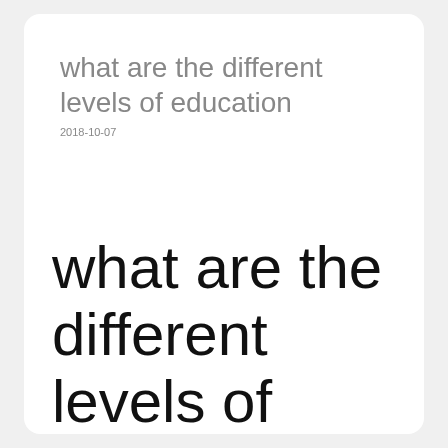what are the different levels of education
2018-10-07
what are the different levels of education